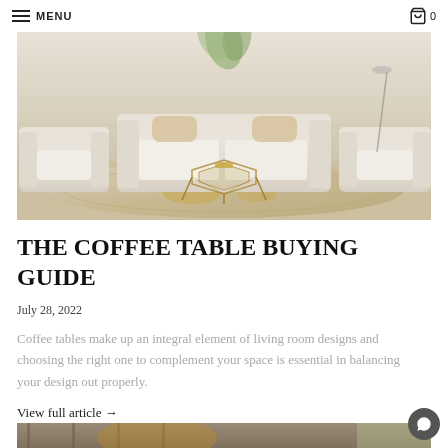MENU   0
[Figure (photo): A living room scene featuring cream/beige leather recliner sofas arranged around a geometric gold/glass coffee table on a patterned rug, with a tropical plant in the background.]
THE COFFEE TABLE BUYING GUIDE
July 28, 2022
Coffee tables make up an integral element of living room designs and choosing the right one to complement your space is essential in balancing your design out properly.
View full article →
[Figure (photo): Partial view of a modern living room with wall paneling and warm ambient lighting, another article preview image at the bottom of the page.]